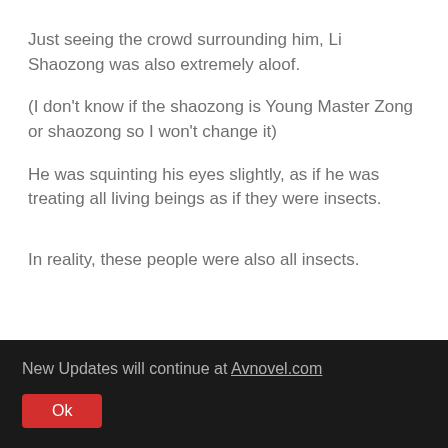Just seeing the crowd surrounding him, Li Shaozong was also extremely aloof.
(I don't know if the shaozong is Young Master Zong or shaozong so I won't change it)
He was squinting his eyes slightly, as if he was treating all living beings as if they were insects.
In reality, these people were also all insects.
New Updates will continue at Avnovel.com
Ok